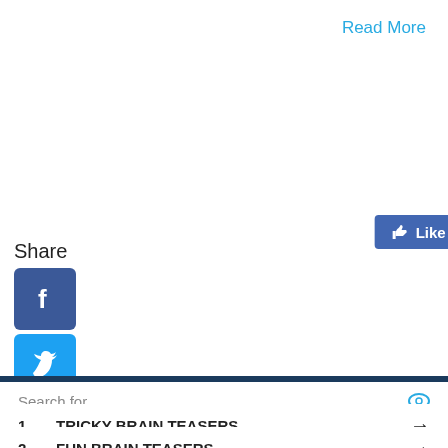Read More
Share
[Figure (screenshot): Facebook Like button showing 45 likes]
[Figure (logo): spelling-words-Well.com globe logo with pencil and text 'spelling around the globe']
Search for
1. TRICKY BRAIN TEASERS
2. FUN BRAIN TEASERS